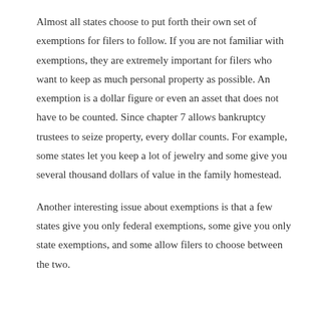Almost all states choose to put forth their own set of exemptions for filers to follow. If you are not familiar with exemptions, they are extremely important for filers who want to keep as much personal property as possible. An exemption is a dollar figure or even an asset that does not have to be counted. Since chapter 7 allows bankruptcy trustees to seize property, every dollar counts. For example, some states let you keep a lot of jewelry and some give you several thousand dollars of value in the family homestead.
Another interesting issue about exemptions is that a few states give you only federal exemptions, some give you only state exemptions, and some allow filers to choose between the two.